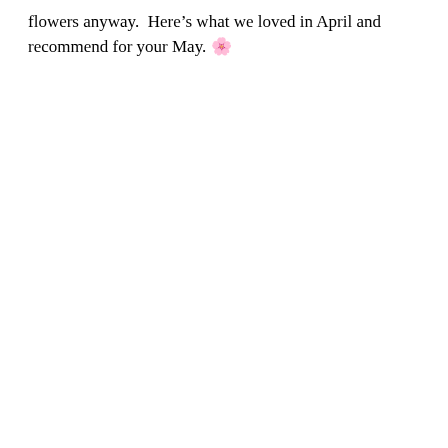flowers anyway.  Here’s what we loved in April and recommend for your May. 🌸